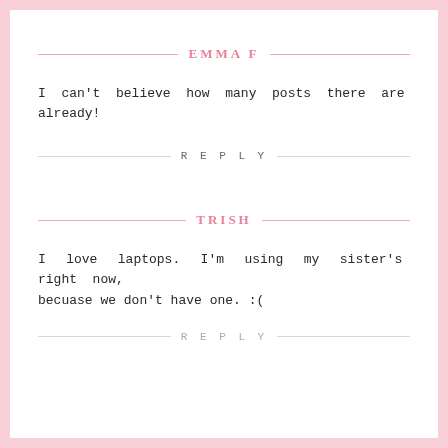EMMA F
I can't believe how many posts there are already!
REPLY
TRISH
I love laptops. I'm using my sister's right now, becuase we don't have one. :(
REPLY